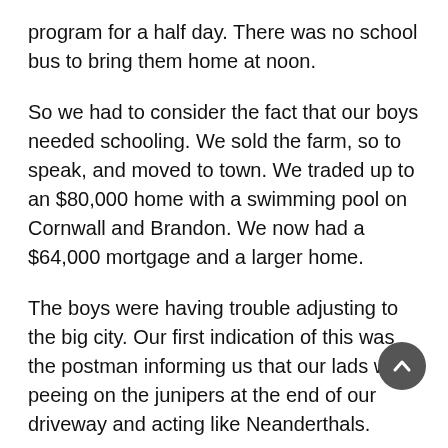program for a half day. There was no school bus to bring them home at noon.
So we had to consider the fact that our boys needed schooling. We sold the farm, so to speak, and moved to town. We traded up to an $80,000 home with a swimming pool on Cornwall and Brandon. We now had a $64,000 mortgage and a larger home.
The boys were having trouble adjusting to the big city. Our first indication of this was the postman informing us that our lads were peeing on the junipers at the end of our driveway and acting like Neanderthals.
No sooner than the ink dried on our contract, I was bumped from my job due to cutbacks and low seniority. Talk about “easy come, easy go.” Now comes the cruncher: no income,